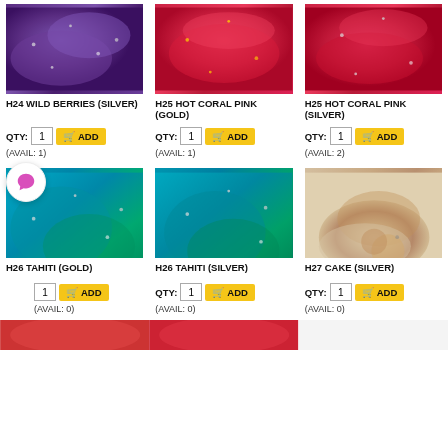[Figure (photo): Purple yarn with silver sequins - H24 Wild Berries Silver]
H24 WILD BERRIES (SILVER)
QTY: 1 ADD
(AVAIL: 1)
[Figure (photo): Hot coral pink yarn with gold sequins - H25 Hot Coral Pink Gold]
H25 HOT CORAL PINK (GOLD)
QTY: 1 ADD
(AVAIL: 1)
[Figure (photo): Hot coral pink yarn with silver sequins - H25 Hot Coral Pink Silver]
H25 HOT CORAL PINK (SILVER)
QTY: 1 ADD
(AVAIL: 2)
[Figure (photo): Teal blue and green yarn with gold sequins - H26 Tahiti Gold]
H26 TAHITI (GOLD)
QTY: 1 ADD
(AVAIL: 0)
[Figure (photo): Teal blue and green yarn with silver sequins - H26 Tahiti Silver]
H26 TAHITI (SILVER)
QTY: 1 ADD
(AVAIL: 0)
[Figure (photo): Cream and brown speckled yarn - H27 Cake Silver]
H27 CAKE (SILVER)
QTY: 1 ADD
(AVAIL: 0)